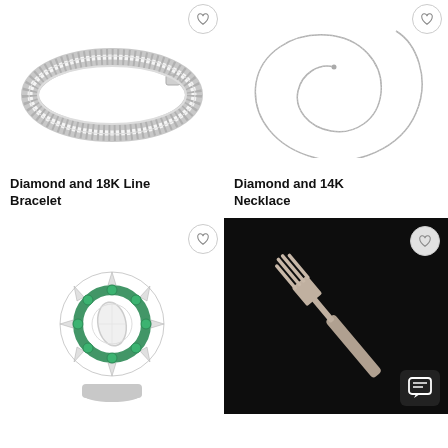[Figure (photo): Diamond and 18K Line Bracelet on white background]
[Figure (photo): Diamond and 14K Necklace on white background]
Diamond and 18K Line Bracelet
Diamond and 14K Necklace
[Figure (photo): Diamond and emerald ring on white background]
[Figure (photo): Silver fork on black background with chat icon overlay]